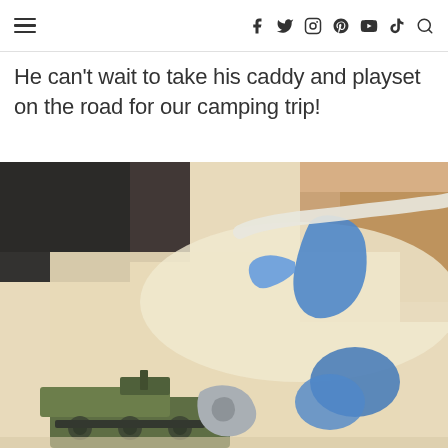≡  f  twitter  instagram  pinterest  youtube  tiktok  search
He can't wait to take his caddy and playset on the road for our camping trip!
[Figure (photo): Close-up photo of toy military playset pieces including a green vehicle and blue plastic figures on a light surface, blurred background with cardboard boxes]